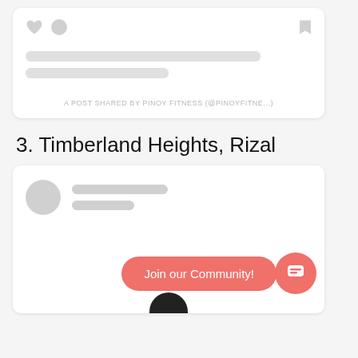[Figure (screenshot): Top social media post card UI with heart icon, speech bubble icon, bookmark icon, two placeholder grey lines, and text 'A POST SHARED BY PINOY FITNESS (@PINOYFITNE...']
3. Timberland Heights, Rizal
[Figure (screenshot): Bottom social media post card UI with avatar circle, two placeholder grey lines, a pink 'Join our Community!' button, and a pink circular chat icon]